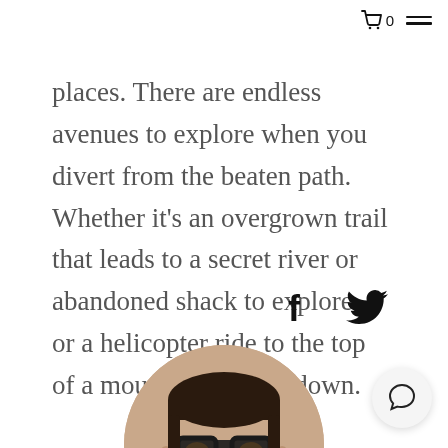0 ≡
places. There are endless avenues to explore when you divert from the beaten path. Whether it's an overgrown trail that leads to a secret river or abandoned shack to explore, or a helicopter ride to the top of a mountain you ski down.
[Figure (illustration): Social sharing icons: Facebook (f) and Twitter (bird) icons in black]
[Figure (photo): Circular cropped portrait photo of a man with glasses, dark hair, and a beard, smiling slightly]
[Figure (illustration): Chat bubble button icon in a white circular button at bottom right corner]